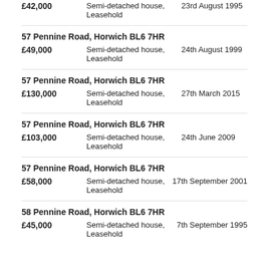£42,000 | Semi-detached house, Leasehold | 23rd August 1995
57 Pennine Road, Horwich BL6 7HR
£49,000 | Semi-detached house, Leasehold | 24th August 1999
57 Pennine Road, Horwich BL6 7HR
£130,000 | Semi-detached house, Leasehold | 27th March 2015
57 Pennine Road, Horwich BL6 7HR
£103,000 | Semi-detached house, Leasehold | 24th June 2009
57 Pennine Road, Horwich BL6 7HR
£58,000 | Semi-detached house, Leasehold | 17th September 2001
58 Pennine Road, Horwich BL6 7HR
£45,000 | Semi-detached house, Leasehold | 7th September 1995